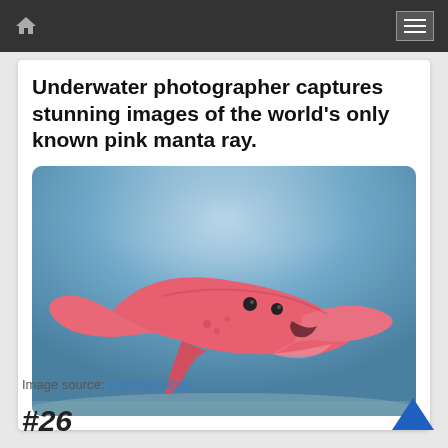Underwater photographer captures stunning images of the world's only known pink manta ray.
[Figure (photo): Underwater photograph of a pink manta ray swimming near the ocean floor with a blue water background.]
Image source: yup.that.exists
#26